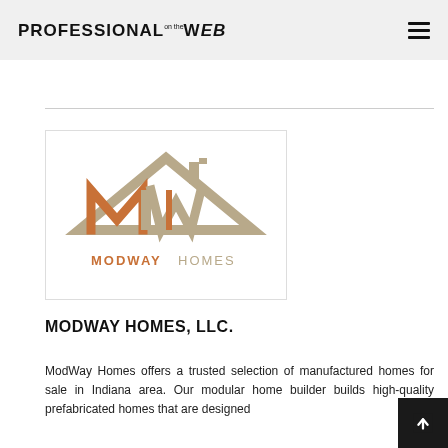PROFESSIONAL on the WEB
[Figure (logo): ModWay Homes logo: stylized MW letters in orange and tan/beige beneath a house roof outline, with 'MODWAY HOMES' text below in orange and gray]
MODWAY HOMES, LLC.
ModWay Homes offers a trusted selection of manufactured homes for sale in Indiana area. Our modular home builder builds high-quality prefabricated homes that are designed